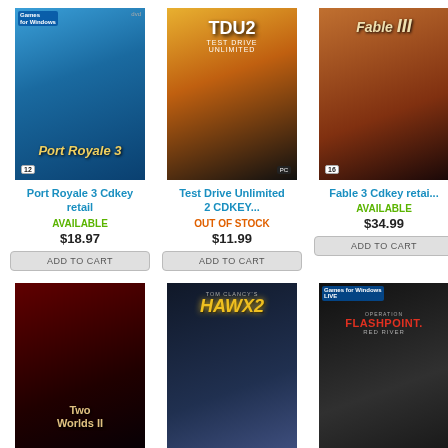[Figure (photo): Port Royale 3 game cover - pirates themed PC game box art]
Port Royale 3 Cdkey retail
AVAILABLE
$18.97
ADD TO CART
[Figure (photo): Test Drive Unlimited 2 game cover - racing game box art with sports car]
Test Drive Unlimited 2 CDKEY...
OUT OF STOCK
$11.99
ADD TO CART
[Figure (photo): Fable 3 game cover - fantasy RPG box art]
Fable 3 Cdkey retail
AVAILABLE
$34.99
ADD TO CART
[Figure (photo): Two Worlds II game cover - dark fantasy RPG box art]
[Figure (photo): Tom Clancy's HAWX 2 game cover - flight combat game box art]
[Figure (photo): Operation Flashpoint Red River game cover - military shooter box art with Games for Windows Live logo]